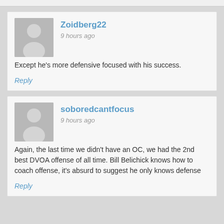Zoidberg22 says: 9 hours ago
Except he's more defensive focused with his success.
Reply
soboredcantfocus says: 9 hours ago
Again, the last time we didn't have an OC, we had the 2nd best DVOA offense of all time. Bill Belichick knows how to coach offense, it's absurd to suggest he only knows defense
Reply